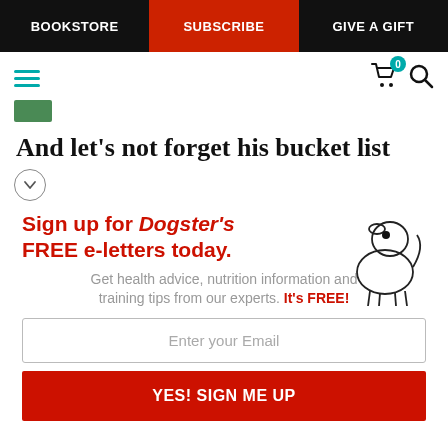BOOKSTORE | SUBSCRIBE | GIVE A GIFT
[Figure (screenshot): Navigation toolbar with hamburger menu (teal), cart icon with badge '0', and search icon]
[Figure (logo): Small green Dogster logo thumbnail]
And let’s not forget his bucket list
[Figure (illustration): Chevron/expand button circle icon]
Sign up for Dogster’s FREE e-letters today. Get health advice, nutrition information and training tips from our experts. It's FREE!
Enter your Email
YES! SIGN ME UP